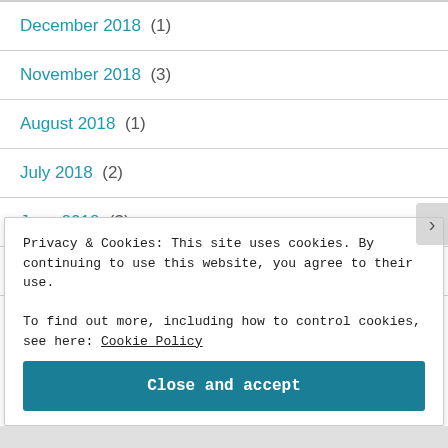December 2018 (1)
November 2018 (3)
August 2018 (1)
July 2018 (2)
June 2018 (3)
May 2018 (2)
Privacy & Cookies: This site uses cookies. By continuing to use this website, you agree to their use.
To find out more, including how to control cookies, see here: Cookie Policy
Close and accept